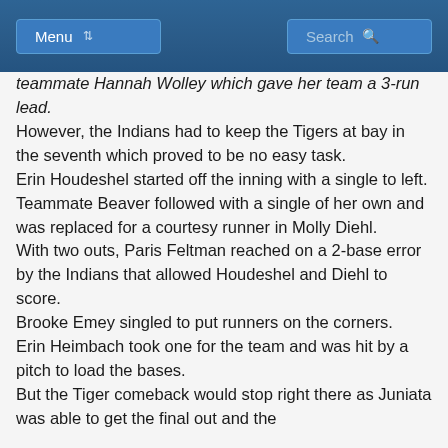Menu | Search
teammate Hannah Wolley which gave her team a 3-run lead.
However, the Indians had to keep the Tigers at bay in the seventh which proved to be no easy task.
Erin Houdeshel started off the inning with a single to left.
Teammate Beaver followed with a single of her own and was replaced for a courtesy runner in Molly Diehl.
With two outs, Paris Feltman reached on a 2-base error by the Indians that allowed Houdeshel and Diehl to score.
Brooke Emey singled to put runners on the corners.
Erin Heimbach took one for the team and was hit by a pitch to load the bases.
But the Tiger comeback would stop right there as Juniata was able to get the final out and the